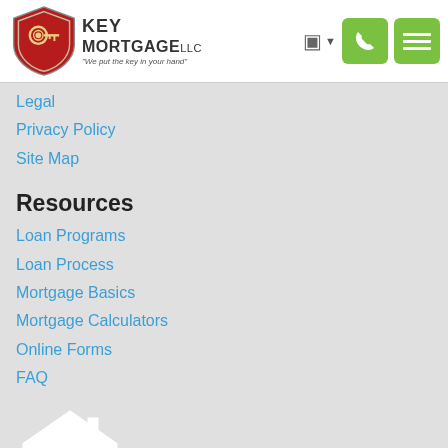[Figure (logo): Key Mortgage LLC logo — red shield with key icon, text 'KEY MORTGAGE LLC' and tagline 'We put the key in your hand']
Legal
Privacy Policy
Site Map
Resources
Loan Programs
Loan Process
Mortgage Basics
Mortgage Calculators
Online Forms
FAQ
[Figure (logo): Equal Housing Lender logo — white house with equal sign, text 'EQUAL HOUSING LENDER' below]
Powered By LenderHomePage.com